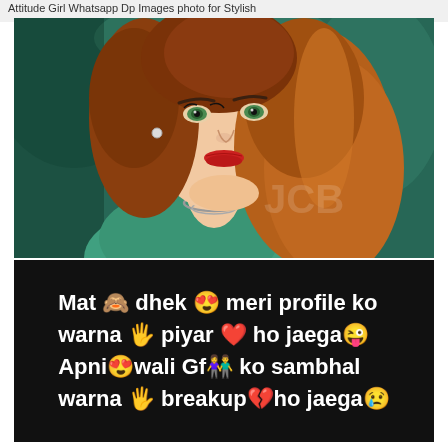Attitude Girl Whatsapp Dp Images photo for Stylish
[Figure (photo): Portrait photo of a young woman with auburn/reddish-brown wavy hair, green eyes, red lipstick, wearing a teal/turquoise outfit and silver chain necklace, photographed against a blurred teal background]
Mat 🙈 dhek 😍 meri profile ko warna 🖐 piyar ❤ ho jaega 😜 Apni 😍 wali Gf 👫 ko sambhal warna 🖐 breakup 💔 ho jaega 😢